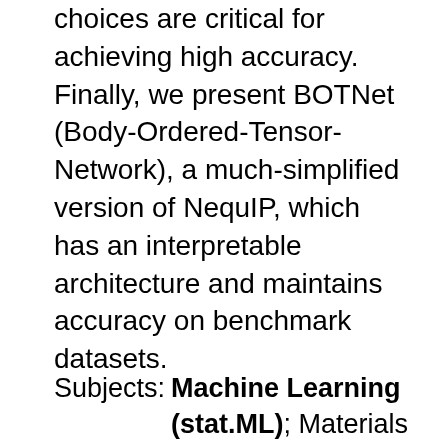choices are critical for achieving high accuracy. Finally, we present BOTNet (Body-Ordered-Tensor-Network), a much-simplified version of NequIP, which has an interpretable architecture and maintains accuracy on benchmark datasets.
Subjects: Machine Learning (stat.ML); Materials Science (cond-